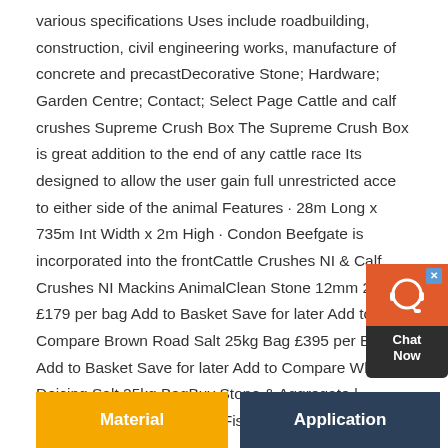various specifications Uses include roadbuilding, construction, civil engineering works, manufacture of concrete and precastDecorative Stone; Hardware; Garden Centre; Contact; Select Page Cattle and calf crushes Supreme Crush Box The Supreme Crush Box is great addition to the end of any cattle race Its designed to allow the user gain full unrestricted access to either side of the animal Features · 28m Long x 735m Internal Width x 2m High · Condon Beefgate is incorporated into the frontCattle Crushes NI & Calf Crushes NI Mackins AnimalClean Stone 12mm 25kg £179 per bag Add to Basket Save for later Add to Compare Brown Road Salt 25kg Bag £395 per Bag Add to Basket Save for later Add to Compare White Deicing Salt 25kg BagBuy Stone & Aggregate | Northern Ireland | Haldane Fisher
[Figure (other): Live chat widget with orange/red headset icon and 'Chat Now' label on dark background, with blue X close button]
Material
Application